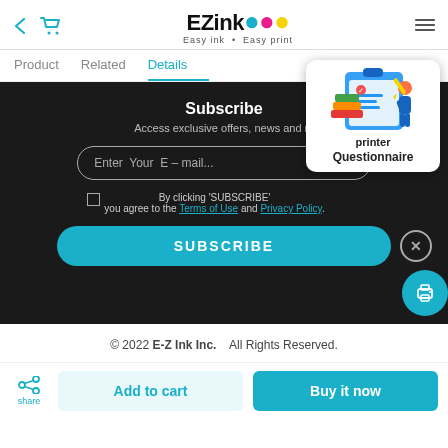EZink Easy ink · Easy print
Product   Related   Details
Subscribe
Access exclusive offers, news and m
Enter Your E - mail...
By clicking 'SUBSCRIBE' you agree to the Terms of Use and Privacy Policy.
SUBSCRIBE
[Figure (illustration): Questionnaire card with printer label and clipboard illustration]
© 2022 E-Z Ink Inc.   All Rights Reserved.
share   Add to cart   Buy it now